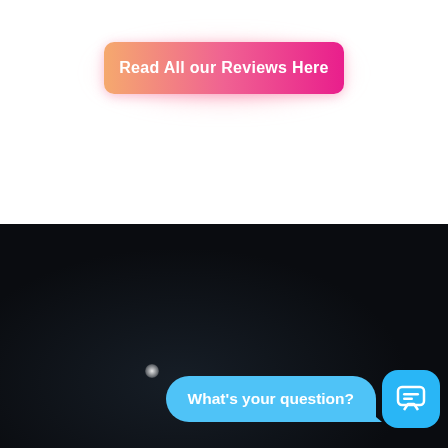[Figure (screenshot): A gradient button with glowing pink/coral effect on white background reading 'Read All our Reviews Here', and a dark nighttime photo section below with a chat widget showing 'What's your question?' bubble and a blue chat icon.]
Read All our Reviews Here
What's your question?